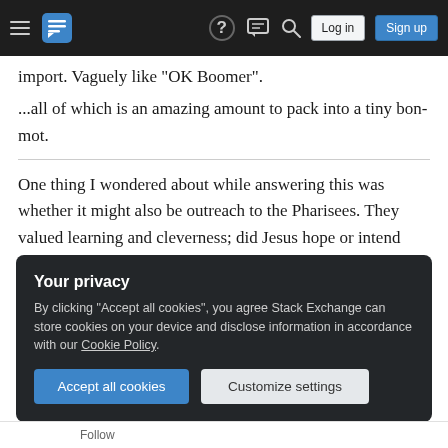Stack Exchange navigation bar with hamburger menu, logo, help, chat, search icons, Log in and Sign up buttons
import. Vaguely like "OK Boomer".
...all of which is an amazing amount to pack into a tiny bon-mot.
One thing I wondered about while answering this was whether it might also be outreach to the Pharisees. They valued learning and cleverness; did Jesus hope or intend that friendly(?) verbal sparring would be an invitation to the Pharisees? Is Jesus’ mastery of the arts the Pharisees valued most a subtle proof offered just for them?
Your privacy
By clicking “Accept all cookies”, you agree Stack Exchange can store cookies on your device and disclose information in accordance with our Cookie Policy.
Accept all cookies    Customize settings